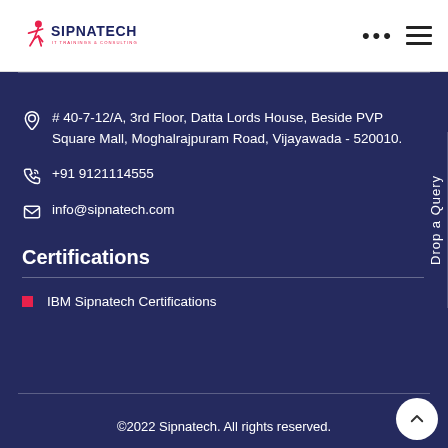[Figure (logo): Sipnatech IT Trainings & Consulting logo with running figure icon in red/pink and dark blue text]
# 40-7-12/A, 3rd Floor, Datta Lords House, Beside PVP Square Mall, Moghalrajpuram Road, Vijayawada - 520010.
+91 9121114555
info@sipnatech.com
Certifications
IBM Sipnatech Certifications
©2022 Sipnatech. All rights reserved.